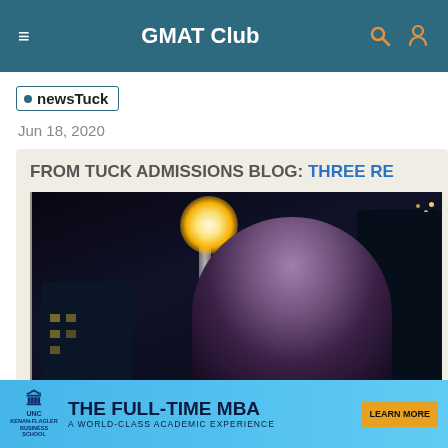GMAT Club
newsTuck
Jun 18, 2020
FROM TUCK ADMISSIONS BLOG: THREE RE
[Figure (photo): Night city selfie of a person in front of a lit street lamp with city buildings in background]
[Figure (infographic): UNC Kenan-Flagler Business School advertisement banner: THE FULL-TIME MBA A WORLD-CLASS ACADEMIC EXPERIENCE with LEARN MORE button]